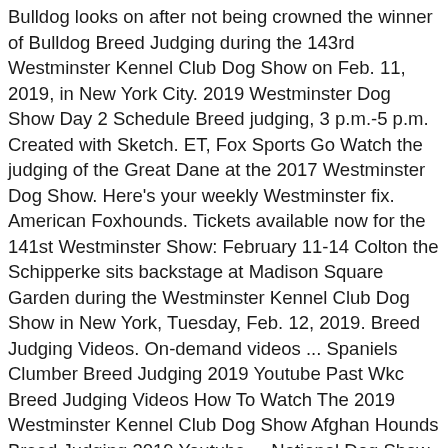Bulldog looks on after not being crowned the winner of Bulldog Breed Judging during the 143rd Westminster Kennel Club Dog Show on Feb. 11, 2019, in New York City. 2019 Westminster Dog Show Day 2 Schedule Breed judging, 3 p.m.-5 p.m. Created with Sketch. ET, Fox Sports Go Watch the judging of the Great Dane at the 2017 Westminster Dog Show. Here's your weekly Westminster fix. American Foxhounds. Tickets available now for the 141st Westminster Show: February 11-14 Colton the Schipperke sits backstage at Madison Square Garden during the Westminster Kennel Club Dog Show in New York, Tuesday, Feb. 12, 2019. Breed Judging Videos. On-demand videos ... Spaniels Clumber Breed Judging 2019 Youtube Past Wkc Breed Judging Videos How To Watch The 2019 Westminster Kennel Club Dog Show Afghan Hounds Breed Judging 2019 Youtube ... National Dog Show 2019 Tv Schedule Live Stream Top Breeds And Judging Westminster Dog Show Stock Photos Judging Westminster Live video from your iPhone using Ustream. and then read 82 likes. The 143rd installment of the dog show drew